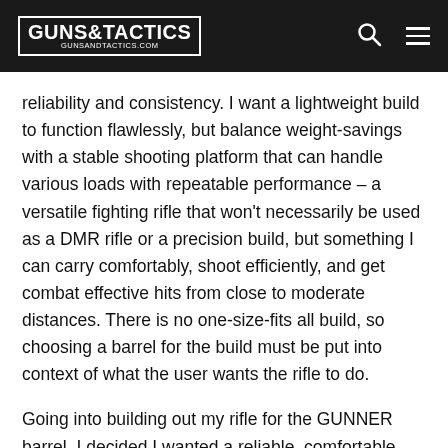GUNS&TACTICS GUNSANDTACTICS.COM
reliability and consistency. I want a lightweight build to function flawlessly, but balance weight-savings with a stable shooting platform that can handle various loads with repeatable performance – a versatile fighting rifle that won't necessarily be used as a DMR rifle or a precision build, but something I can carry comfortably, shoot efficiently, and get combat effective hits from close to moderate distances. There is no one-size-fits all build, so choosing a barrel for the build must be put into context of what the user wants the rifle to do.
Going into building out my rifle for the GUNNER barrel, I decided I wanted a reliable, comfortable, fast, and combat-accurate rifle.